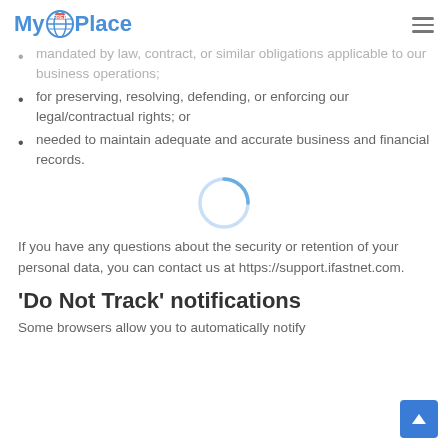MyFREEPlace
mandated by law, contract, or similar obligations applicable to our business operations;
for preserving, resolving, defending, or enforcing our legal/contractual rights; or
needed to maintain adequate and accurate business and financial records.
If you have any questions about the security or retention of your personal data, you can contact us at https://support.ifastnet.com.
'Do Not Track' notifications
Some browsers allow you to automatically notify